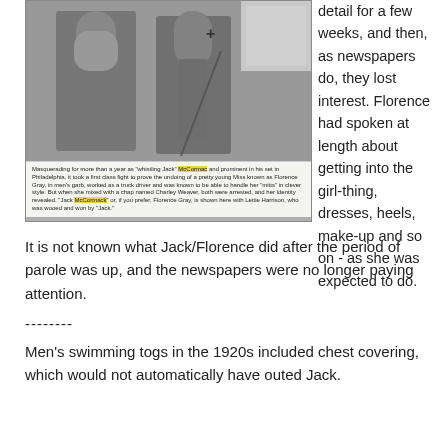[Figure (photo): Old newspaper clipping showing a person in men's clothing with a cane, accompanied by a caption about Florence Gray masquerading as 'Whistling Jack']
Masquerading for more than a year as "whistling Jack" McCormac and prominent in his set in Philadelphia, it took a first class fight to prove the undoing of a pretty young Miss known as Florence Gray, in men's garb, worked as a truck driver and was known to be able to handle her "mitts" in clever style. But when she mixed with a chap named Charley Weaver, both were arrested, and her identity revealed. "Jack McCormack" or, if you prefer, Florence Gray, is shown here with Lettie Harrison, who was wooed and won by 'Jack.'
detail for a few weeks, and then, as newspapers do, they lost interest. Florence had spoken at length about getting into the girl-thing, dresses, heels, make-up and so on - as she was expected to do.
It is not known what Jack/Florence did after the period of parole was up, and the newspapers were no longer paying attention.
--------
Men's swimming togs in the 1920s included chest covering, which would not automatically have outed Jack.